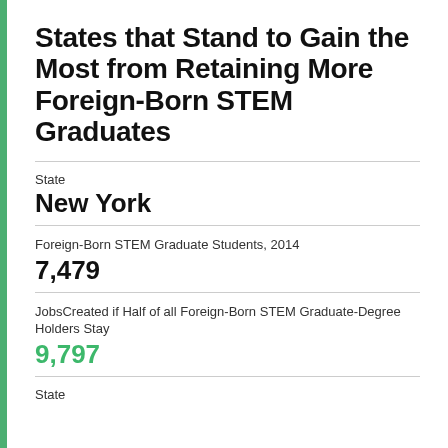States that Stand to Gain the Most from Retaining More Foreign-Born STEM Graduates
State
New York
Foreign-Born STEM Graduate Students, 2014
7,479
JobsCreated if Half of all Foreign-Born STEM Graduate-Degree Holders Stay
9,797
State